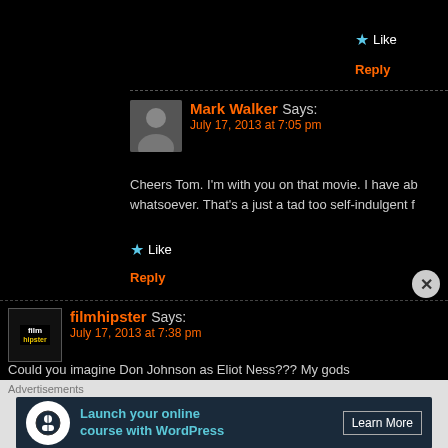Like
Reply
Mark Walker Says: July 17, 2013 at 7:05 pm
Cheers Tom. I'm with you on that movie. I have ab whatsoever. That's a just a tad too self-indulgent f
Like
Reply
filmhipster Says: July 17, 2013 at 7:38 pm
Could you imagine Don Johnson as Eliot Ness??? My gods Ryan Gosling the first Canadian to be nominated for the bes
Like
Reply
Advertisements
Launch your online course with WordPress
Learn More